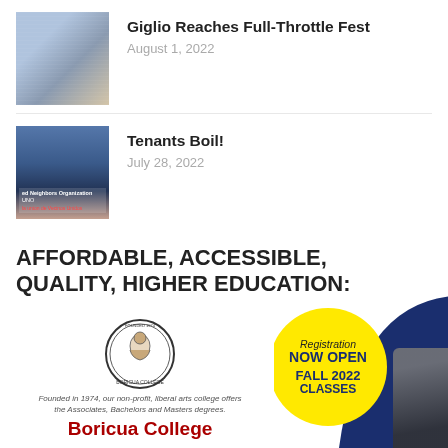[Figure (photo): Photo of people at the Giglio festival]
Giglio Reaches Full-Throttle Fest
August 1, 2022
[Figure (photo): Photo of tenants protest with signs for United Neighbors Organization]
Tenants Boil!
July 28, 2022
AFFORDABLE, ACCESSIBLE, QUALITY, HIGHER EDUCATION:
[Figure (infographic): Boricua College advertisement showing logo, tagline, college name in red, yellow circle with Registration NOW OPEN FALL 2022 CLASSES text, and dark navy arc on right]